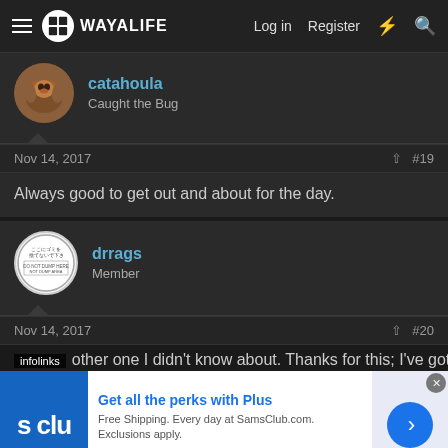WAYALIFE — Log in  Register
[Figure (photo): User avatar for catahoula — dog photo in circular crop]
catahoula
Caught the Bug
Nov 14, 2017  #19
Always good to get out and about for the day.
[Figure (illustration): User avatar for drrags — circular sign with Japanese text and Do Not Dump Here]
drrags
Member
Nov 14, 2017  #20
other one I didn't know about. Thanks for this; I've got
[Figure (screenshot): Advertisement banner: Sam's Club — Get all the perks with Plus. Free Shipping. Every day at SamsClub.com. Exclusions apply. www.samsclub.com]